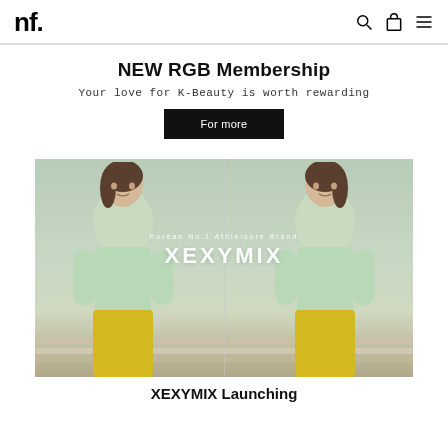NF.
NEW RGB Membership
Your love for K-Beauty is worth rewarding
For more
[Figure (photo): Two female models wearing mint green crop athletic tops and yellow bottoms, posed side by side. Center overlay text reads 'Korean No.1 Athleisure Brand' above 'XEXYMIX' in large white letters.]
XEXYMIX Launching